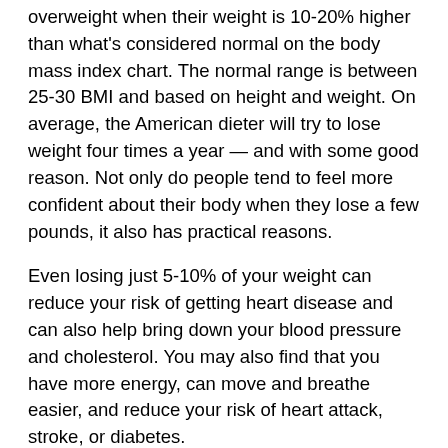overweight when their weight is 10-20% higher than what's considered normal on the body mass index chart. The normal range is between 25-30 BMI and based on height and weight. On average, the American dieter will try to lose weight four times a year — and with some good reason. Not only do people tend to feel more confident about their body when they lose a few pounds, it also has practical reasons.
Even losing just 5-10% of your weight can reduce your risk of getting heart disease and can also help bring down your blood pressure and cholesterol. You may also find that you have more energy, can move and breathe easier, and reduce your risk of heart attack, stroke, or diabetes.
What Good Are Dietary Supplements?